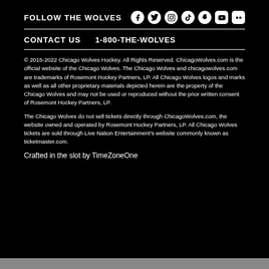FOLLOW THE WOLVES
[Figure (infographic): Social media icons: Facebook, Twitter, Instagram, TikTok, Snapchat, YouTube, Flickr]
CONTACT US   1-800-THE-WOLVES
© 2015-2022 Chicago Wolves Hockey. All Rights Reserved. ChicagoWolves.com is the official website of the Chicago Wolves. The Chicago Wolves and chicagowolves.com are trademarks of Rosemont Hockey Partners, LP. All Chicago Wolves logos and marks as well as all other proprietary materials depicted herein are the property of the Chicago Wolves and may not be used or reproduced without the prior written consent of Rosemont Hockey Partners, LP.
The Chicago Wolves do not sell tickets directly through ChicagoWolves.com, the website owned and operated by Rosemont Hockey Partners, LP. All Chicago Wolves tickets are sold through Live Nation Entertainment's website commonly known as ticketmaster.com.
Crafted in the slot by TimeZoneOne